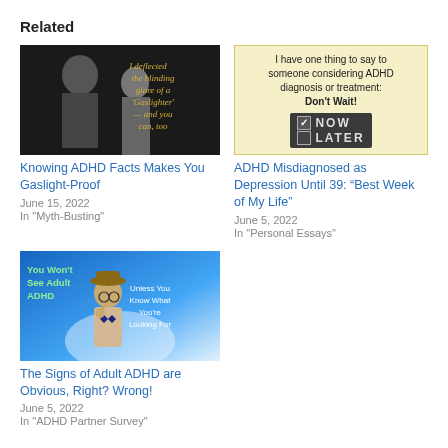Related
[Figure (photo): Black and white photo of two people, one looking away, with yellow italic text overlay reading: I deflected the blinding glare of a 'Gaslighter' — and you can, too]
Knowing ADHD Facts Makes You Gaslight-Proof
June 15, 2022
In "Myth-Busting"
[Figure (photo): Yellow background image with text: I have one thing to say to someone considering ADHD diagnosis or treatment: Don't Wait! with a chalkboard showing checkboxes for NOW and LATER]
ADHD Misdiagnosed as Depression Until 39: “Best Week of My Life”
June 5, 2022
In "Personal Essays"
[Figure (photo): Blue background with a man in a hat and bow tie, text: You Won't See Adult ADHD Unless You Know What You're Looking For]
The Signs of Adult ADHD are Obvious, Right? Wrong!
June 5, 2022
In "ADHD Partner Survey"